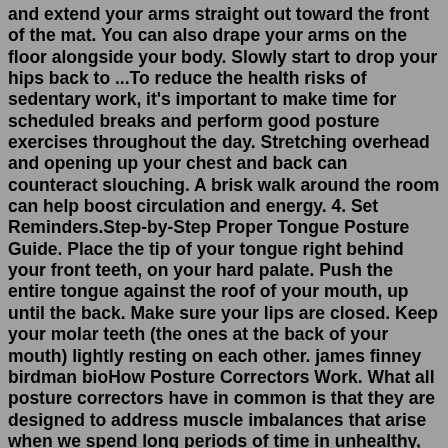and extend your arms straight out toward the front of the mat. You can also drape your arms on the floor alongside your body. Slowly start to drop your hips back to ...To reduce the health risks of sedentary work, it's important to make time for scheduled breaks and perform good posture exercises throughout the day. Stretching overhead and opening up your chest and back can counteract slouching. A brisk walk around the room can help boost circulation and energy. 4. Set Reminders.Step-by-Step Proper Tongue Posture Guide. Place the tip of your tongue right behind your front teeth, on your hard palate. Push the entire tongue against the roof of your mouth, up until the back. Make sure your lips are closed. Keep your molar teeth (the ones at the back of your mouth) lightly resting on each other. james finney birdman bioHow Posture Correctors Work. What all posture correctors have in common is that they are designed to address muscle imbalances that arise when we spend long periods of time in unhealthy, fixed positions. While the muscles in the